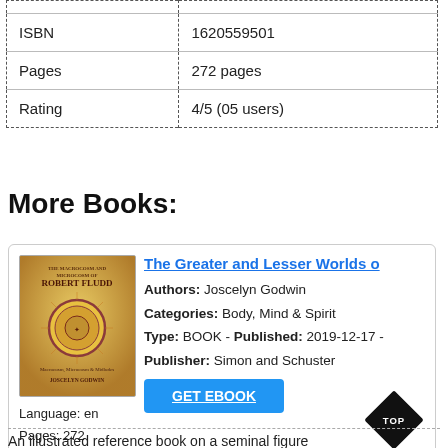|  |  |
| --- | --- |
| ISBN | 1620559501 |
| Pages | 272 pages |
| Rating | 4/5 (05 users) |
More Books:
[Figure (photo): Book cover for 'The Greater and Lesser Worlds' by Robert Fludd, showing ornate circular design on yellow/gold background]
The Greater and Lesser Worlds o
Authors: Joscelyn Godwin
Categories: Body, Mind & Spirit
Type: BOOK - Published: 2019-12-17 - Publisher: Simon and Schuster
Language: en
Pages: 272
GET EBOOK
An illustrated reference book on a seminal figure